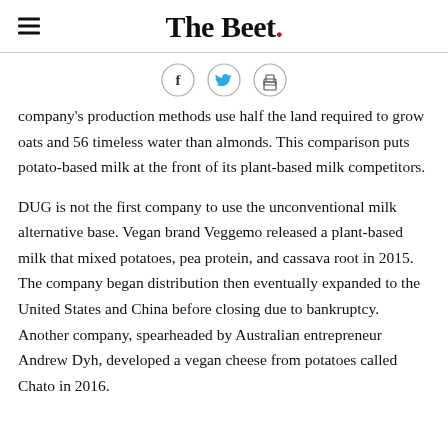The Beet.
[Figure (illustration): Social sharing icons: Facebook, Twitter, and print buttons in circular outlines]
company's production methods use half the land required to grow oats and 56 timeless water than almonds. This comparison puts potato-based milk at the front of its plant-based milk competitors.
DUG is not the first company to use the unconventional milk alternative base. Vegan brand Veggemo released a plant-based milk that mixed potatoes, pea protein, and cassava root in 2015. The company began distribution then eventually expanded to the United States and China before closing due to bankruptcy. Another company, spearheaded by Australian entrepreneur Andrew Dyh, developed a vegan cheese from potatoes called Chato in 2016.